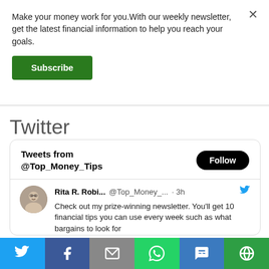Make your money work for you.With our weekly newsletter, get the latest financial information to help you reach your goals.
Subscribe
Twitter
[Figure (screenshot): Twitter widget showing Tweets from @Top_Money_Tips with a Follow button, and a tweet from Rita R. Robi... @Top_Money_... · 3h: Check out my prize-winning newsletter. You'll get 10 financial tips you can use every week such as what bargains to look for]
[Figure (infographic): Bottom share bar with icons for Twitter, Facebook, Email, WhatsApp, SMS, and another sharing option]